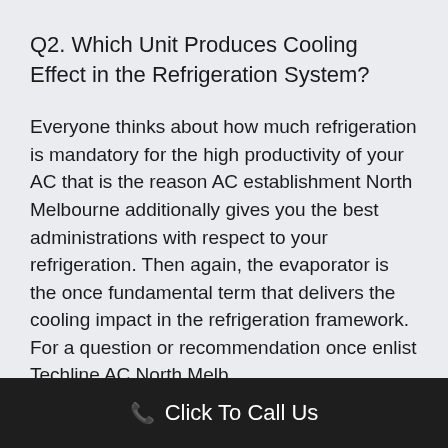Q2. Which Unit Produces Cooling Effect in the Refrigeration System?
Everyone thinks about how much refrigeration is mandatory for the high productivity of your AC that is the reason AC establishment North Melbourne additionally gives you the best administrations with respect to your refrigeration. Then again, the evaporator is the once fundamental term that delivers the cooling impact in the refrigeration framework. For a question or recommendation once enlist Techline AC North Melb...
Click To Call Us